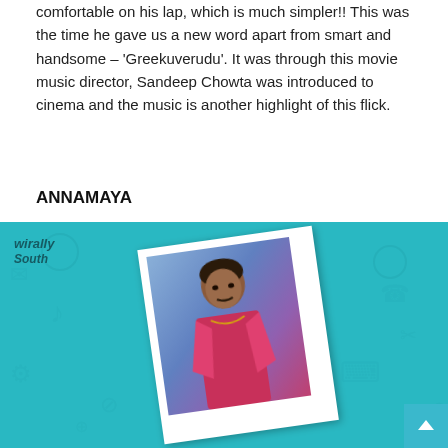comfortable on his lap, which is much simpler!! This was the time he gave us a new word apart from smart and handsome – 'Greekuverudu'. It was through this movie music director, Sandeep Chowta was introduced to cinema and the music is another highlight of this flick.
ANNAMAYA
[Figure (photo): Promotional image with teal background showing a Polaroid-style photo of a man in traditional/period costume (red/pink clothing, jewelry), with a 'wirally south' watermark logo in the top-left corner, and a scroll-to-top button in the bottom-right corner.]